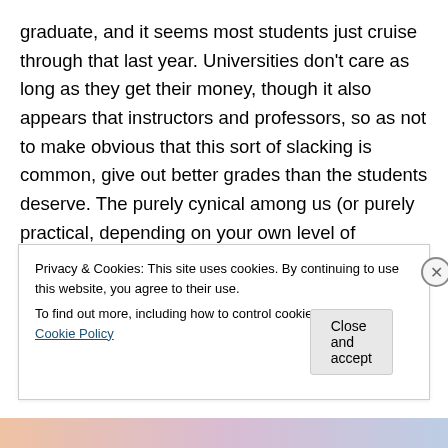graduate, and it seems most students just cruise through that last year. Universities don't care as long as they get their money, though it also appears that instructors and professors, so as not to make obvious that this sort of slacking is common, give out better grades than the students deserve. The purely cynical among us (or purely practical, depending on your own level of cynicism) will say this hardly matters; that the whole Japanese university system is rigged so that once you are enrolled in an institution of higher learning it is to the benefit of that institution that you remain for the duration, so grades are
Privacy & Cookies: This site uses cookies. By continuing to use this website, you agree to their use.
To find out more, including how to control cookies, see here: Cookie Policy
Close and accept